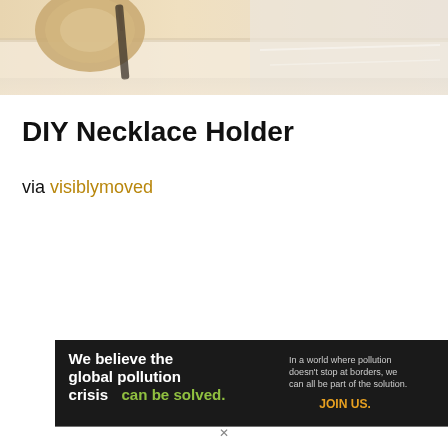[Figure (photo): Partial photo at top of page showing a blurred close-up of jewelry/necklace holder craft items on a light background]
DIY Necklace Holder
via visiblymoved
[Figure (infographic): Pure Earth advertisement banner: black background with text 'We believe the global pollution crisis can be solved.' and 'In a world where pollution doesn't stop at borders, we can all be part of the solution. JOIN US.' with Pure Earth logo on right side]
✕